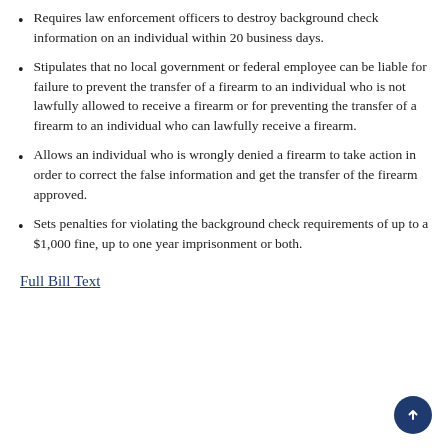Requires law enforcement officers to destroy background check information on an individual within 20 business days.
Stipulates that no local government or federal employee can be liable for failure to prevent the transfer of a firearm to an individual who is not lawfully allowed to receive a firearm or for preventing the transfer of a firearm to an individual who can lawfully receive a firearm.
Allows an individual who is wrongly denied a firearm to take action in order to correct the false information and get the transfer of the firearm approved.
Sets penalties for violating the background check requirements of up to a $1,000 fine, up to one year imprisonment or both.
Full Bill Text